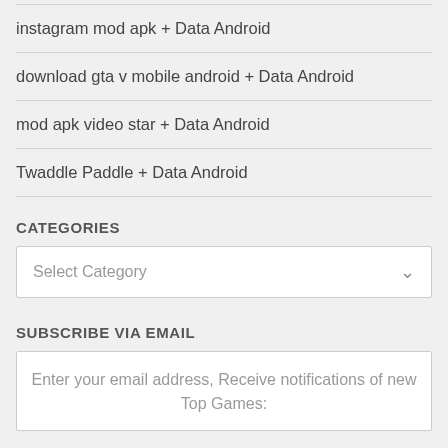instagram mod apk + Data Android
download gta v mobile android + Data Android
mod apk video star + Data Android
Twaddle Paddle + Data Android
CATEGORIES
Select Category
SUBSCRIBE VIA EMAIL
Enter your email address, Receive notifications of new Top Games: